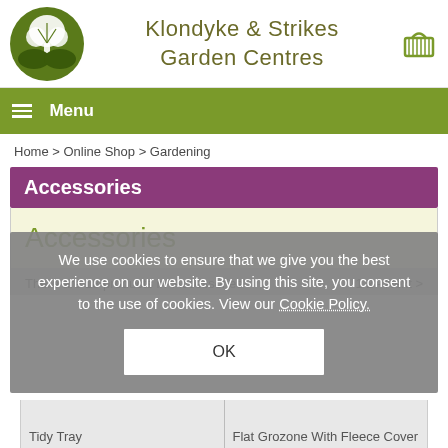[Figure (logo): Klondyke & Strikes Garden Centres logo with tree illustration in green circle and brand name text]
Menu
Home > Online Shop > Gardening
Accessories
Accessories
There are 18 products in 'Accessories'
1 2 - Next >
We use cookies to ensure that we give you the best experience on our website. By using this site, you consent to the use of cookies. View our Cookie Policy.
OK
Tidy Tray
Flat Grozone With Fleece Cover